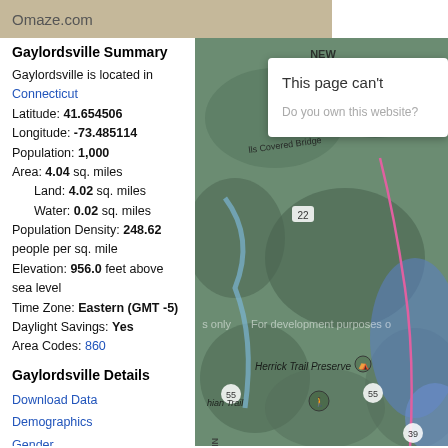Omaze.com
Gaylordsville Summary
Gaylordsville is located in Connecticut
Latitude: 41.654506
Longitude: -73.485114
Population: 1,000
Area: 4.04 sq. miles
Land: 4.02 sq. miles
Water: 0.02 sq. miles
Population Density: 248.62 people per sq. mile
Elevation: 956.0 feet above sea level
Time Zone: Eastern (GMT -5)
Daylight Savings: Yes
Area Codes: 860
Gaylordsville Details
Download Data
Demographics
Gender
[Figure (map): Topographic map of Gaylordsville, Connecticut area showing terrain, Herrick Trail Preserve, Appalachian Trail, route markers 22, 55, 39, and state border between New York and Connecticut with pink boundary line. A browser error overlay reads 'This page can't' and 'Do you own this website?']